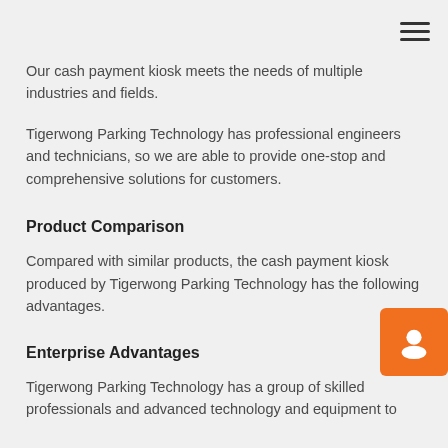Our cash payment kiosk meets the needs of multiple industries and fields.
Tigerwong Parking Technology has professional engineers and technicians, so we are able to provide one-stop and comprehensive solutions for customers.
Product Comparison
Compared with similar products, the cash payment kiosk produced by Tigerwong Parking Technology has the following advantages.
Enterprise Advantages
Tigerwong Parking Technology has a group of skilled professionals and advanced technology and equipment to